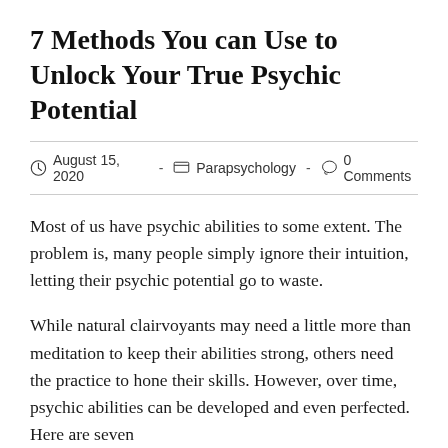7 Methods You can Use to Unlock Your True Psychic Potential
August 15, 2020  -  Parapsychology  -  0 Comments
Most of us have psychic abilities to some extent. The problem is, many people simply ignore their intuition, letting their psychic potential go to waste.
While natural clairvoyants may need a little more than meditation to keep their abilities strong, others need the practice to hone their skills. However, over time, psychic abilities can be developed and even perfected. Here are seven